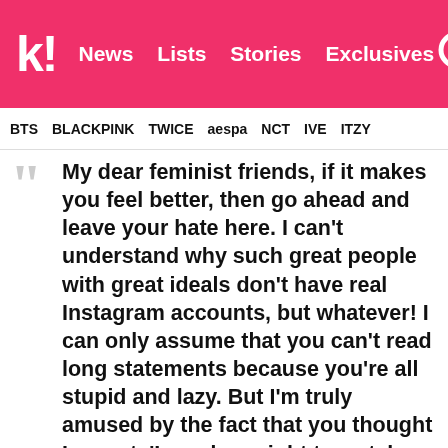k! News  Lists  Stories  Exclusives
BTS  BLACKPINK  TWICE  aespa  NCT  IVE  ITZY
My dear feminist friends, if it makes you feel better, then go ahead and leave your hate here. I can't understand why such great people with great ideals don't have real Instagram accounts, but whatever! I can only assume that you can't read long statements because you're all stupid and lazy. But I'm truly amused by the fact that you thought I meant, 'I need my right to watch porn.' I guess now the world knows you guys don't have the brains. Haha. You know what? Go head. Find all the haksa related people